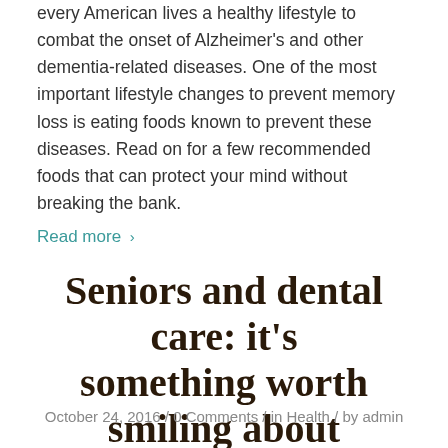every American lives a healthy lifestyle to combat the onset of Alzheimer's and other dementia-related diseases. One of the most important lifestyle changes to prevent memory loss is eating foods known to prevent these diseases. Read on for a few recommended foods that can protect your mind without breaking the bank.
Read more ›
Seniors and dental care: it's something worth smiling about
October 24, 2016 / 0 Comments / in Health / by admin